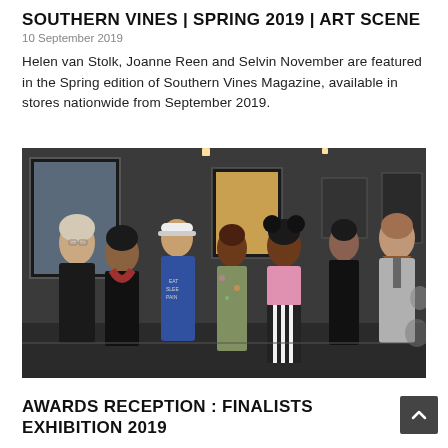SOUTHERN VINES | SPRING 2019 | ART SCENE
10 September 2019
Helen van Stolk, Joanne Reen and Selvin November are featured in the Spring edition of Southern Vines Magazine, available in stores nationwide from September 2019.
[Figure (photo): Group photo of seven people standing together in an art gallery or exhibition space, posing in front of artwork on walls.]
AWARDS RECEPTION : FINALISTS EXHIBITION 2019